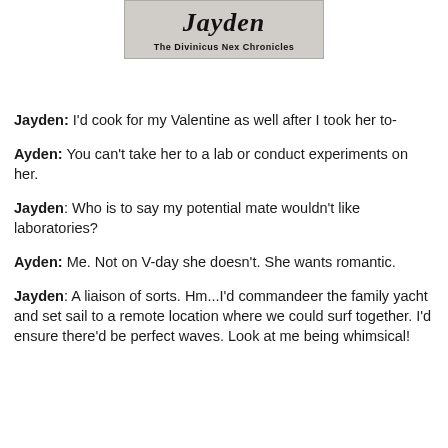[Figure (illustration): Book cover for 'Jayden: The Divinicus Nex Chronicles' showing title text on a grey background]
Jayden: I'd cook for my Valentine as well after I took her to-
Ayden: You can't take her to a lab or conduct experiments on her.
Jayden: Who is to say my potential mate wouldn't like laboratories?
Ayden: Me. Not on V-day she doesn't. She wants romantic.
Jayden: A liaison of sorts. Hm...I'd commandeer the family yacht and set sail to a remote location where we could surf together. I'd ensure there'd be perfect waves. Look at me being whimsical!